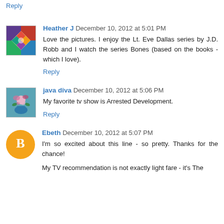Reply
Heather J  December 10, 2012 at 5:01 PM
Love the pictures. I enjoy the Lt. Eve Dallas series by J.D. Robb and I watch the series Bones (based on the books - which I love).
Reply
java diva  December 10, 2012 at 5:06 PM
My favorite tv show is Arrested Development.
Reply
Ebeth  December 10, 2012 at 5:07 PM
I'm so excited about this line - so pretty. Thanks for the chance!
My TV recommendation is not exactly light fare - it's The